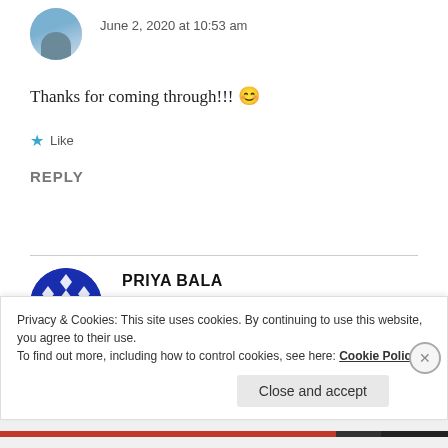[Figure (photo): Circular profile picture of a person with blue sky background, partially cropped at top]
June 2, 2020 at 10:53 am
Thanks for coming through!!! 😊
★ Like
REPLY
[Figure (photo): Circular profile avatar with blue and white diamond/geometric pattern]
PRIYA BALA
June 3, 2020 at 2:56 am
Privacy & Cookies: This site uses cookies. By continuing to use this website, you agree to their use.
To find out more, including how to control cookies, see here: Cookie Policy
Close and accept